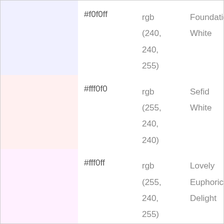| Color | Hex | RGB | Name |
| --- | --- | --- | --- |
| #f0f0ff swatch | #f0f0ff | rgb (240, 240, 255) | Foundation White |
| #fff0f0 swatch | #fff0f0 | rgb (255, 240, 240) | Sefid White |
| #fff0ff swatch | #fff0ff | rgb (255, 240, 255) | Lovely Euphoric Delight |